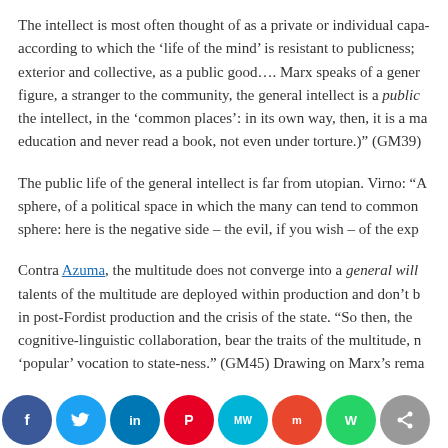The intellect is most often thought of as a private or individual capacity, according to which the ‘life of the mind’ is resistant to publicness; exterior and collective, as a public good…. Marx speaks of a general figure, a stranger to the community, the general intellect is a public figure, the intellect, in the ‘common places’: in its own way, then, it is a matter of education and never read a book, not even under torture.)” (GM39)
The public life of the general intellect is far from utopian. Virno: “… sphere, of a political space in which the many can tend to common sphere: here is the negative side – the evil, if you wish – of the exp
Contra Azuma, the multitude does not converge into a general will… talents of the multitude are deployed within production and don’t b in post-Fordist production and the crisis of the state. “So then, the cognitive-linguistic collaboration, bear the traits of the multitude, n ‘popular’ vocation to state-ness.” (GM45) Drawing on Marx’s rema